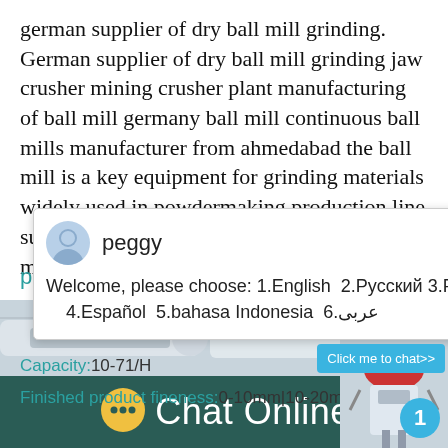german supplier of dry ball mill grinding. German supplier of dry ball mill grinding jaw crusher mining crusher plant manufacturing of ball mill germany ball mill continuous ball mills manufacturer from ahmedabad the ball mill is a key equipment for grinding materials widely used in powdermaking production line such as cement silie sand newtype building material refractory material
[Figure (screenshot): Live chat popup with avatar named 'peggy', showing language selection message: Welcome, please choose: 1.English 2.Русский 3.Français 4.Español 5.bahasa Indonesia 6.عربى, with a close X button]
Capacity:10-71/H
Finished product fineness:0-10mm|10-20mm
[Figure (photo): Industrial machinery photo, partially visible at bottom of page]
Chat Online